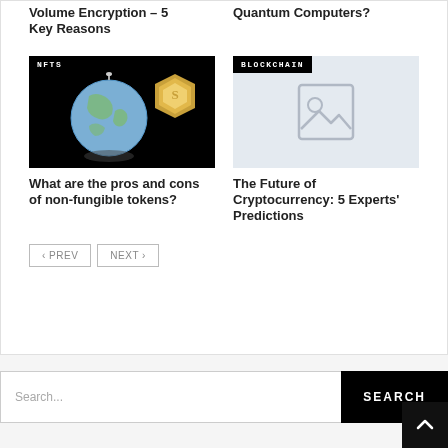Volume Encryption – 5 Key Reasons
Quantum Computers?
[Figure (photo): Globe with gold shield/coin on black background, NFTS category badge]
What are the pros and cons of non-fungible tokens?
[Figure (illustration): Placeholder image icon on light blue-grey background, BLOCKCHAIN category badge]
The Future of Cryptocurrency: 5 Experts' Predictions
< PREV   NEXT >
Search...
SEARCH